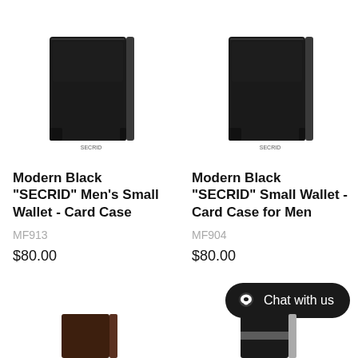[Figure (photo): Modern Black SECRID men's small wallet card case product photo, black rectangular card holder on white background]
Modern Black "SECRID" Men's Small Wallet - Card Case
MF913
$80.00
[Figure (photo): Modern Black SECRID small wallet card case for men product photo, black rectangular card holder on white background]
Modern Black "SECRID" Small Wallet - Card Case for Men
MF904
$80.00
[Figure (photo): Chat with us button - dark rounded pill button with chat icon]
[Figure (photo): Bottom partial product thumbnails - two wallet products partially visible at bottom of page]